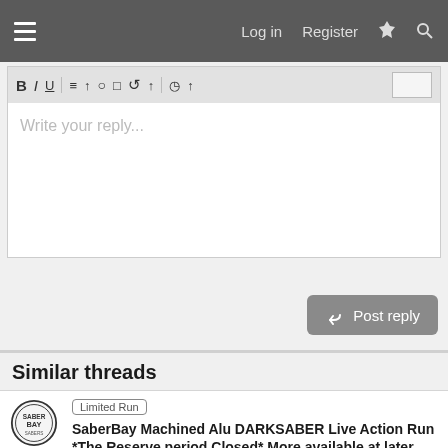Log in  Register
Write your reply...
Post reply
Similar threads
Limited Run  SaberBay Machined Alu DARKSABER Live Action Run *The Reserve period Closed* More available at later time
Saberbay · Project Runs
Replies: 751 · 9 minutes ago
Limited Run  Star Trek TNG Hypospray Electronic